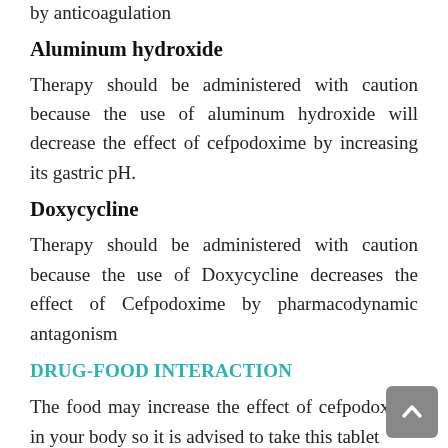by anticoagulation
Aluminum hydroxide
Therapy should be administered with caution because the use of aluminum hydroxide will decrease the effect of cefpodoxime by increasing its gastric pH.
Doxycycline
Therapy should be administered with caution because the use of Doxycycline decreases the effect of Cefpodoxime by pharmacodynamic antagonism
DRUG-FOOD INTERACTION
The food may increase the effect of cefpodoxime in your body so it is advised to take this tablet